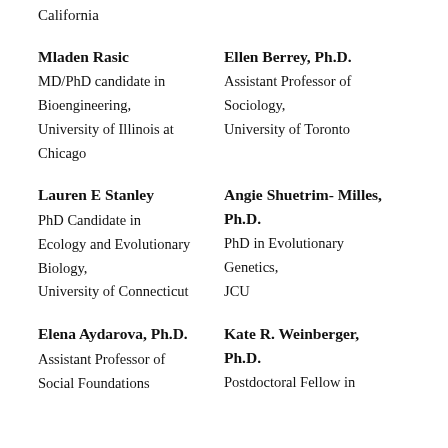California
Mladen Rasic
MD/PhD candidate in Bioengineering, University of Illinois at Chicago
Ellen Berrey, Ph.D.
Assistant Professor of Sociology, University of Toronto
Lauren E Stanley
PhD Candidate in Ecology and Evolutionary Biology, University of Connecticut
Angie Shuetrim- Milles, Ph.D.
PhD in Evolutionary Genetics, JCU
Elena Aydarova, Ph.D.
Assistant Professor of Social Foundations
Kate R. Weinberger, Ph.D.
Postdoctoral Fellow in